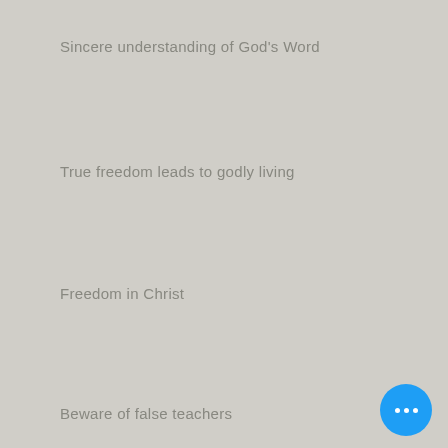Sincere understanding of God's Word
True freedom leads to godly living
Freedom in Christ
Beware of false teachers
[Figure (other): Blue circular FAB button with three white dots (ellipsis menu)]